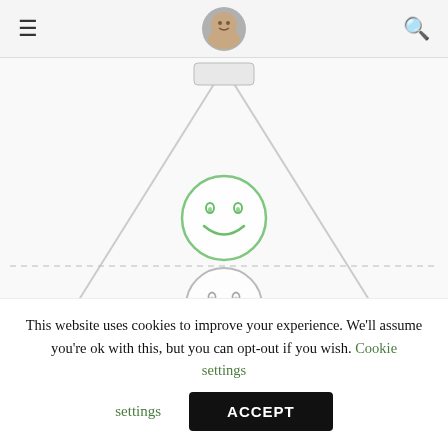Navigation header with hamburger menu, user avatar, and search icon
[Figure (illustration): A triangle/pyramid diagram with three emoji-style faces inside: a happy green smiley face at the top, a neutral grey face in the middle, and a sad pink/red face at the bottom. The pyramid narrows toward the top. A dashed horizontal line crosses through the middle section.]
This website uses cookies to improve your experience. We'll assume you're ok with this, but you can opt-out if you wish. Cookie settings
ACCEPT